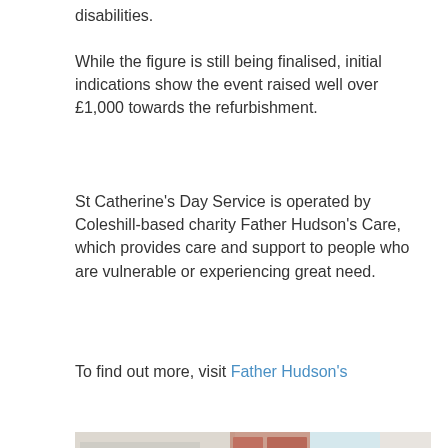disabilities.
While the figure is still being finalised, initial indications show the event raised well over £1,000 towards the refurbishment.
St Catherine's Day Service is operated by Coleshill-based charity Father Hudson's Care, which provides care and support to people who are vulnerable or experiencing great need.
To find out more, visit Father Hudson's
[Figure (photo): A woman with long blonde hair wearing a black top stands smiling in an office room. Behind her on the wall is a large TV screen showing a group of people seated around a table. A bicycle is visible on the right side. Maps and papers are on the wall to the left.]